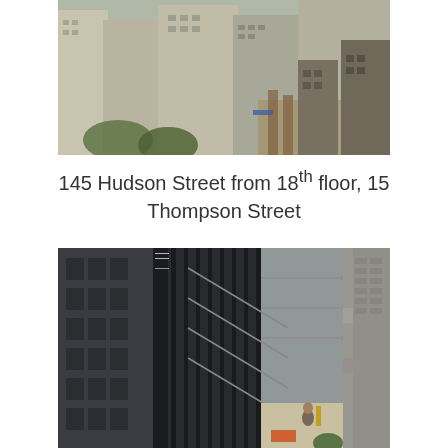[Figure (photo): Aerial view of city buildings including 145 Hudson Street seen from 18th floor of 15 Thompson Street, showing dense urban architecture with construction]
145 Hudson Street from 18th floor, 15 Thompson Street
[Figure (photo): Street-level view showing the AND MIRIAM STEINBERG CEN building signage vertically on a dark facade, with a person sitting in a sunlit plaza area between buildings]